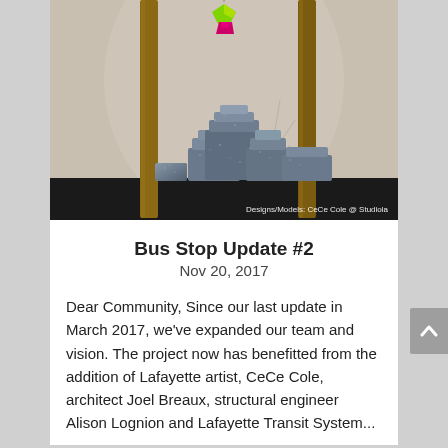[Figure (photo): Photograph of blue-grey ceramic/stone sculptural models arranged in a stepped formation on a dark shelf, with wooden poles and botanical elements in the background, and a small colorful hanging object at top. Watermark text: Designs/Models: CeCe Cole @ Studiola]
Bus Stop Update #2
Nov 20, 2017
Dear Community, Since our last update in March 2017, we've expanded our team and vision. The project now has benefitted from the addition of Lafayette artist, CeCe Cole, architect Joel Breaux, structural engineer Alison Lognion and Lafayette Transit System...